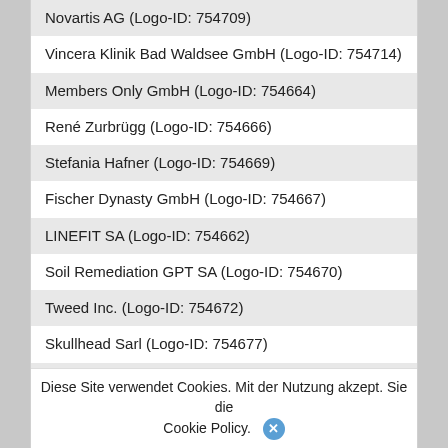Novartis AG (Logo-ID: 754709)
Vincera Klinik Bad Waldsee GmbH (Logo-ID: 754714)
Members Only GmbH (Logo-ID: 754664)
René Zurbrügg (Logo-ID: 754666)
Stefania Hafner (Logo-ID: 754669)
Fischer Dynasty GmbH (Logo-ID: 754667)
LINEFIT SA (Logo-ID: 754662)
Soil Remediation GPT SA (Logo-ID: 754670)
Tweed Inc. (Logo-ID: 754672)
Skullhead Sarl (Logo-ID: 754677)
Dr. med. Oliver Gemperle (Logo-ID: 754678)
M. Khaled Khalifa Dehai Khalifa Alkaabi (Logo-ID: 754661)
Vittoria Dallinger (Logo-ID: 754682)
Diese Site verwendet Cookies. Mit der Nutzung akzept. Sie die Cookie Policy.